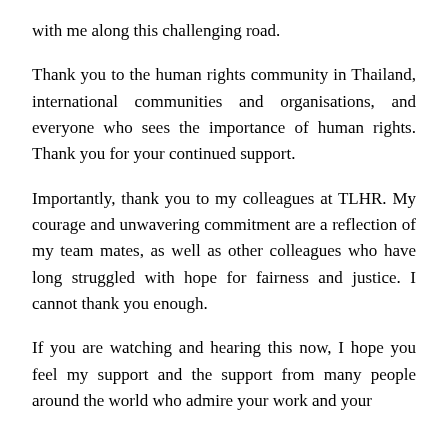with me along this challenging road.
Thank you to the human rights community in Thailand, international communities and organisations, and everyone who sees the importance of human rights. Thank you for your continued support.
Importantly, thank you to my colleagues at TLHR. My courage and unwavering commitment are a reflection of my team mates, as well as other colleagues who have long struggled with hope for fairness and justice. I cannot thank you enough.
If you are watching and hearing this now, I hope you feel my support and the support from many people around the world who admire your work and your